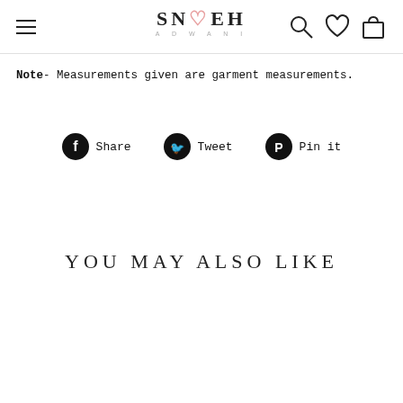SNEH ADWANI — navigation header with hamburger menu, logo, search, wishlist, and cart icons
Note- Measurements given are garment measurements.
[Figure (infographic): Social sharing buttons: Share (Facebook), Tweet (Twitter), Pin it (Pinterest)]
YOU MAY ALSO LIKE